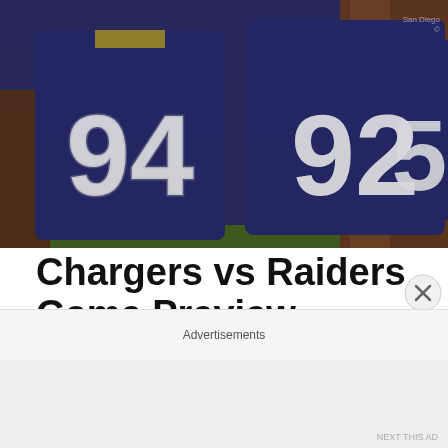[Figure (photo): Photo of San Diego Chargers football players in dark blue jerseys with numbers 94, 92, and 5 visible, standing close together]
Chargers vs Raiders Game Preview
The Chargers, after another catastrophic blown lead, are now in crisis mode. Only four weeks into the season the Bolts (1-3) go up to play the Oakland Raiders (3-1), in a game that already feels like a must win. To make things worse, the Chargers thought they had finally gone a week
Advertisements